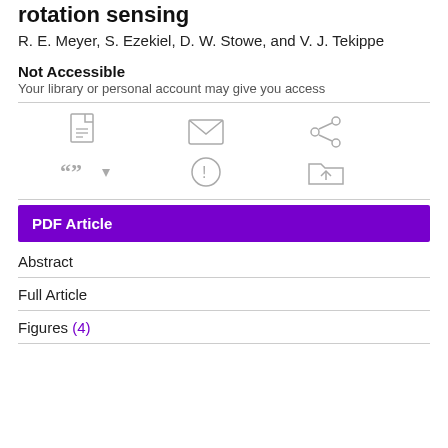rotation sensing
R. E. Meyer, S. Ezekiel, D. W. Stowe, and V. J. Tekippe
Not Accessible
Your library or personal account may give you access
[Figure (infographic): Row of action icons: PDF download, email, share, cite (with dropdown arrow), alert/info, save to folder]
PDF Article
Abstract
Full Article
Figures (4)